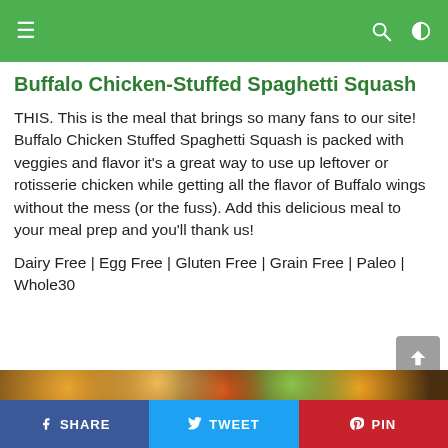Navigation bar with hamburger menu, search, and dark mode icons
Buffalo Chicken-Stuffed Spaghetti Squash
THIS. This is the meal that brings so many fans to our site!  Buffalo Chicken Stuffed Spaghetti Squash is packed with veggies and flavor it's a great way to use up leftover or rotisserie chicken while getting all the flavor of Buffalo wings without the mess (or the fuss). Add this delicious meal to your meal prep and you'll thank us!
Dairy Free | Egg Free | Gluten Free | Grain Free | Paleo | Whole30
[Figure (photo): Food photo strip showing Buffalo Chicken Stuffed Spaghetti Squash dish]
SHARE | TWEET | PIN